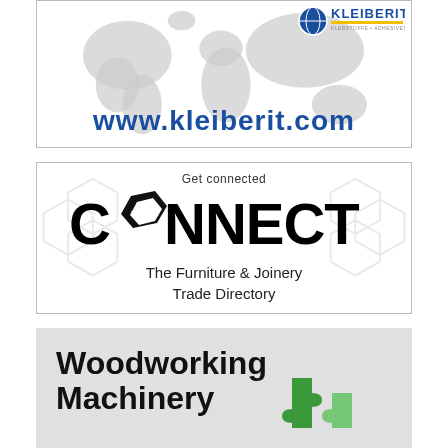[Figure (logo): Kleiberit adhesives advertisement with world map background, logo top right, and website URL www.kleiberit.com]
[Figure (logo): CONNECT - The Furniture & Joinery Trade Directory advertisement with hexagon background pattern and large bold CONNECT text]
[Figure (logo): Woodworking Machinery advertisement on grey background with puzzle piece graphic, partially cut off]